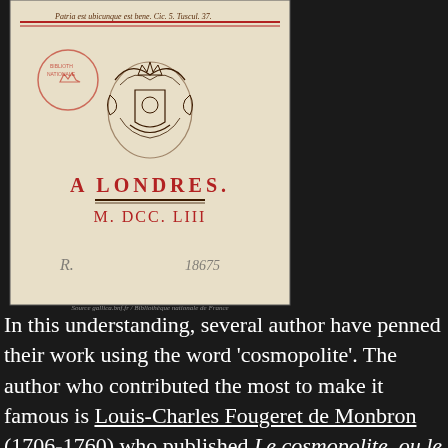[Figure (photo): Scan of an old book title page showing 'A LONDRES. M. DCC. LIII' with an ornamental printer's device/crest, a library stamp, and a handwritten number 18675. Text at top reads 'Patria est ubicunque est bene. Cic. 5. Tusc. 37.' Source attribution: Bibliothèque nationale de France.]
In this understanding, several author have penned their work using the word 'cosmopolite'. The author who contributed the most to make it famous is Louis-Charles Fougeret de Monbron (1706-1760) who published Le cosmopolite, ou le citoyen du monde in 1750. The opening lines are very famous and Lord Byron used them